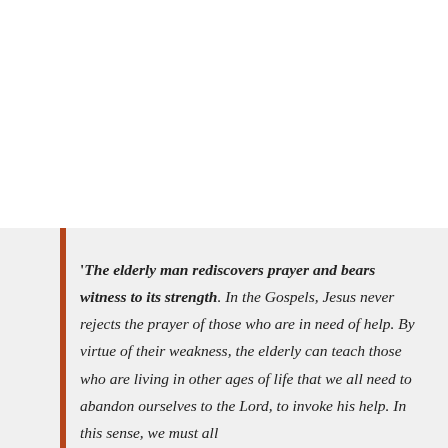'The elderly man rediscovers prayer and bears witness to its strength. In the Gospels, Jesus never rejects the prayer of those who are in need of help. By virtue of their weakness, the elderly can teach those who are living in other ages of life that we all need to abandon ourselves to the Lord, to invoke his help. In this sense, we must all